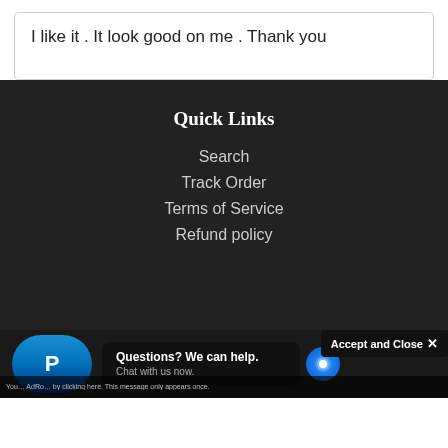I like it . It look good on me . Thank you
Quick Links
Search
Track Order
Terms of Service
Refund policy
Questions? We can help. Chat with us now.
Accept and Close ✕
You... AdRo... by clicking here. This message only appears once.